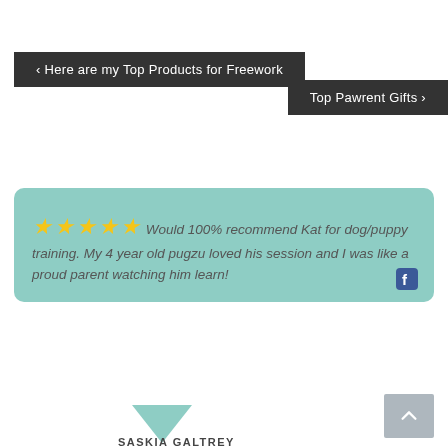‹ Here are my Top Products for Freework
Top Pawrent Gifts ›
★★★★★ Would 100% recommend Kat for dog/puppy training. My 4 year old pugzu loved his session and I was like a proud parent watching him learn!
SASKIA GALTREY